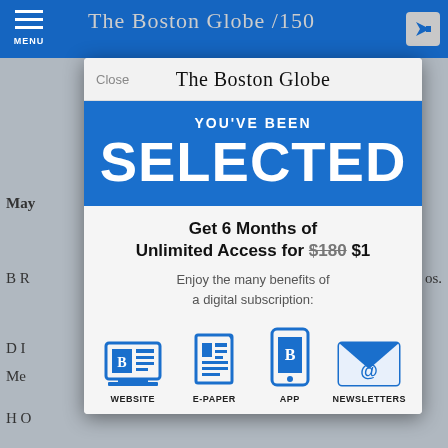[Figure (screenshot): Screenshot of The Boston Globe website with a subscription modal overlay. The modal shows a 'YOU'VE BEEN SELECTED' promotion offering 6 months of unlimited access for $1 (regular price $180 crossed out). Benefits shown include Website, E-Paper, App, and Newsletters icons. Background shows the newspaper's navigation bar and article headlines.]